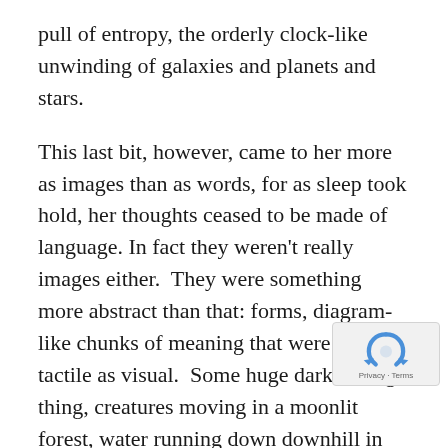pull of entropy, the orderly clock-like unwinding of galaxies and planets and stars.
This last bit, however, came to her more as images than as words, for as sleep took hold, her thoughts ceased to be made of language. In fact they weren't really images either. They were something more abstract than that: forms, diagram-like chunks of meaning that were as much tactile as visual. Some huge dark falling thing, creatures moving in a moonlit forest, water running down downhill in torrents and streams and dripping from sodden peat ...
Dear God, she thought, coming awake